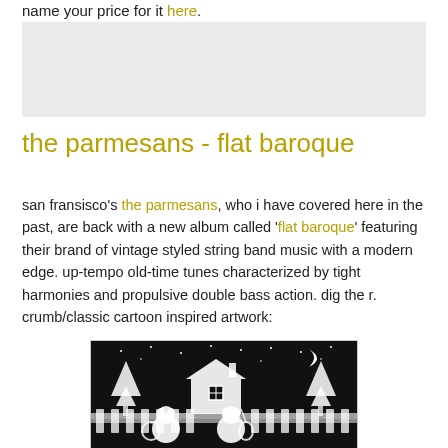name your price for it here.
[Figure (other): Gray placeholder/advertisement box]
the parmesans - flat baroque
san fransisco's the parmesans, who i have covered here in the past, are back with a new album called 'flat baroque' featuring their brand of vintage styled string band music with a modern edge. up-tempo old-time tunes characterized by tight harmonies and propulsive double bass action. dig the r. crumb/classic cartoon inspired artwork:
[Figure (illustration): Black and white R. Crumb/classic cartoon style artwork showing cartoon animal characters playing instruments at night, with trees, a house, a crescent moon, and stars in the background]